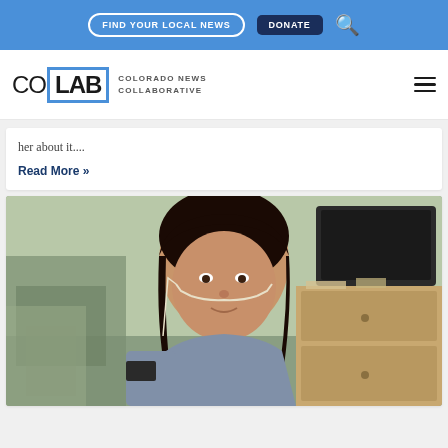FIND YOUR LOCAL NEWS | DONATE | [search]
[Figure (logo): CoLab Colorado News Collaborative logo with blue bracket design]
her about it....
Read More »
[Figure (photo): Woman taking a selfie indoors, wearing a nasal cannula oxygen tube, gray shirt, dark hair, with furniture visible in background]